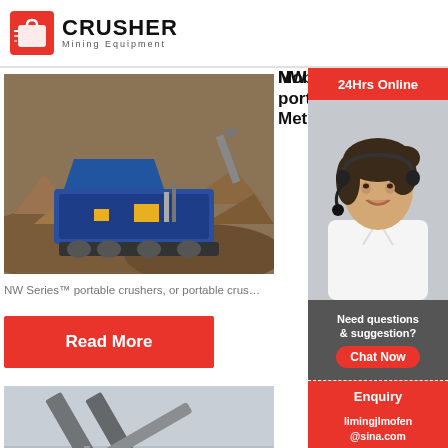[Figure (logo): Crusher Mining Equipment logo with red bag icon and bold text]
[Figure (photo): Photo of a blue portable crusher machine at a mining site with rocky terrain]
NW Series™ portable crushers – Metso Outot
NW Series™ portable crushers, or portable crus…
Read More
[Figure (photo): Photo of a mobile crusher plant with conveyor belts at a mining site]
Mobile Crushers
[Figure (infographic): 24Hrs Online chat widget sidebar with customer service representative photo, Need questions & suggestion, Chat Now button, Enquiry section, and limingjlmofen@sina.com email]